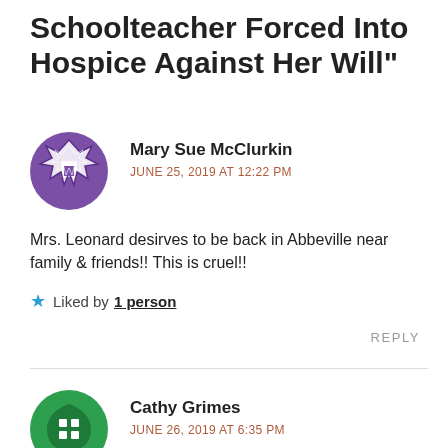Schoolteacher Forced Into Hospice Against Her Will"
Mary Sue McClurkin
JUNE 25, 2019 AT 12:22 PM
Mrs. Leonard desirves to be back in Abbeville near family & friends!! This is cruel!!
Liked by 1 person
REPLY
Cathy Grimes
JUNE 26, 2019 AT 6:35 PM